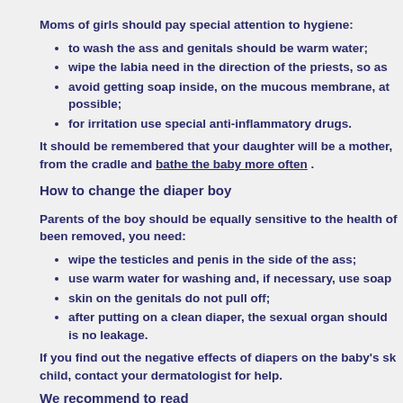Moms of girls should pay special attention to hygiene:
to wash the ass and genitals should be warm water;
wipe the labia need in the direction of the priests, so as
avoid getting soap inside, on the mucous membrane, at possible;
for irritation use special anti-inflammatory drugs.
It should be remembered that your daughter will be a mother, from the cradle and bathe the baby more often .
How to change the diaper boy
Parents of the boy should be equally sensitive to the health of been removed, you need:
wipe the testicles and penis in the side of the ass;
use warm water for washing and, if necessary, use soap
skin on the genitals do not pull off;
after putting on a clean diaper, the sexual organ should is no leakage.
If you find out the negative effects of diapers on the baby's sk child, contact your dermatologist for help.
We recommend to read